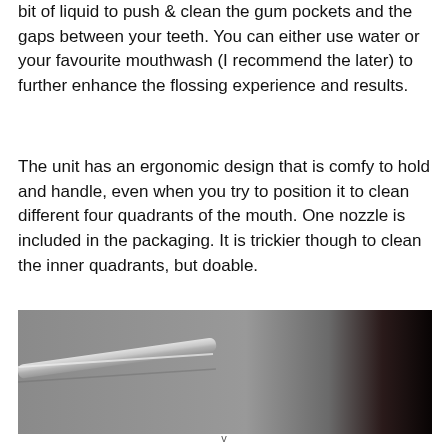bit of liquid to push & clean the gum pockets and the gaps between your teeth. You can either use water or your favourite mouthwash (I recommend the later) to further enhance the flossing experience and results.
The unit has an ergonomic design that is comfy to hold and handle, even when you try to position it to clean different four quadrants of the mouth. One nozzle is included in the packaging. It is trickier though to clean the inner quadrants, but doable.
[Figure (photo): Close-up photo of a water flosser nozzle or handle, showing a metallic/chrome element against a grey background. The right side of the image fades to dark/black.]
v